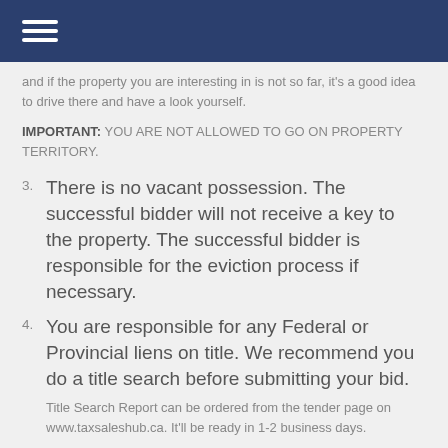and if the property you are interesting in is not so far, it's a good idea to drive there and have a look yourself.
IMPORTANT: YOU ARE NOT ALLOWED TO GO ON PROPERTY TERRITORY.
3. There is no vacant possession. The successful bidder will not receive a key to the property. The successful bidder is responsible for the eviction process if necessary.
4. You are responsible for any Federal or Provincial liens on title. We recommend you do a title search before submitting your bid.
Title Search Report can be ordered from the tender page on www.taxsaleshub.ca. It'll be ready in 1-2 business days.
5. You should investigate zoning, planning or